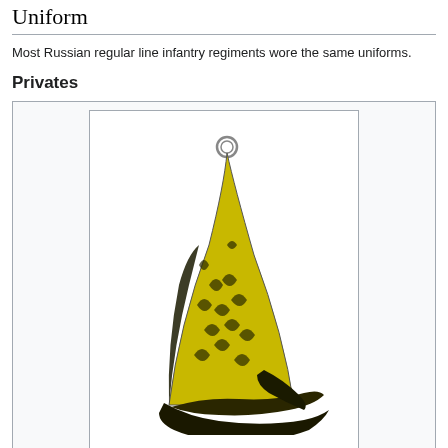Uniform
Most Russian regular line infantry regiments wore the same uniforms.
Privates
[Figure (illustration): Grenadier mitre hat from 1757, yellow with black decorative pattern and black brim]
Grenadier mitre in 1757 - Source: rf-figuren
[Figure (illustration): Two military uniform illustrations side by side: left shows a green coat with black collar and red cuffs with bicorne hat; right shows a red coat with black collar and cuffs with bicorne hat]